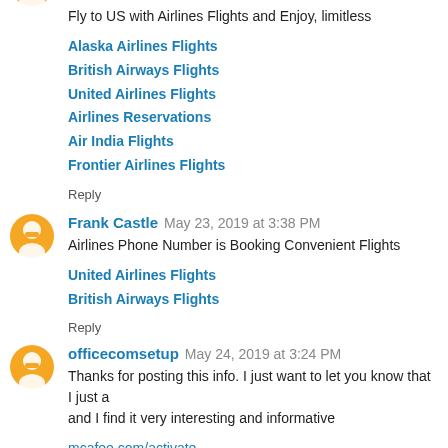Fly to US with Airlines Flights and Enjoy, limitless
Alaska Airlines Flights
British Airways Flights
United Airlines Flights
Airlines Reservations
Air India Flights
Frontier Airlines Flights
Reply
Frank Castle  May 23, 2019 at 3:38 PM
Airlines Phone Number is Booking Convenient Flights
United Airlines Flights
British Airways Flights
Reply
officecomsetup  May 24, 2019 at 3:24 PM
Thanks for posting this info. I just want to let you know that I just and I find it very interesting and informative
mcafee.com/activate
norton.com/setup